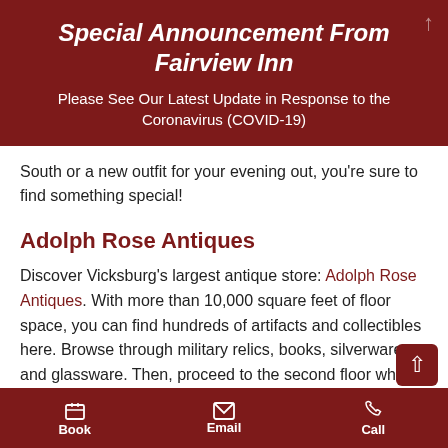Special Announcement From Fairview Inn
Please See Our Latest Update in Response to the Coronavirus (COVID-19)
South or a new outfit for your evening out, you're sure to find something special!
Adolph Rose Antiques
Discover Vicksburg's largest antique store: Adolph Rose Antiques. With more than 10,000 square feet of floor space, you can find hundreds of artifacts and collectibles here. Browse through military relics, books, silverware, and glassware. Then, proceed to the second floor where a flea market awaits you!
Book   Email   Call